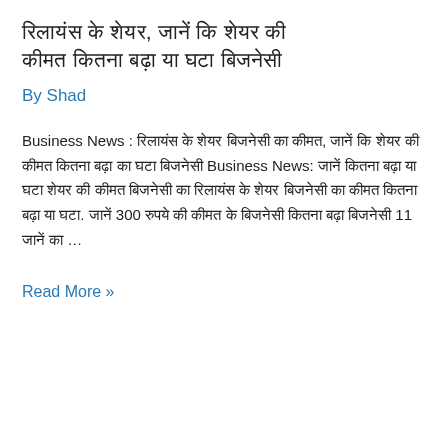रिलायंस के शेयर, जानें कि शेयर की कीमत कितना बढ़ा या घटा बिजनेसी
By Shad
Business News : रिलायंस के शेयर बिजनेसी का कीमत, जानें कि शेयर की कीमत कितना बढ़ा Business News: जानें कितना बढ़ा या घटा शेयर की कीमत बिजनेसी का रिलायंस के शेयर बिजनेसी का कीमत कितना बढ़ा या घटा. जानें 300 रुपये की कीमत के बिजनेसी कितना बढ़ा बिजनेसी 11 जानें का …
Read More »